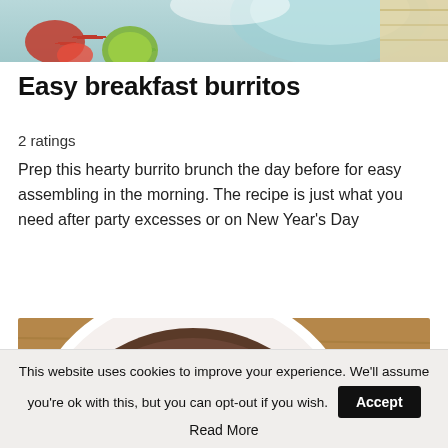[Figure (photo): Top portion of a food photo showing a bowl with red salsa/toppings, lime, and what appears to be a burrito or flatbread]
Easy breakfast burritos
2 ratings
Prep this hearty burrito brunch the day before for easy assembling in the morning. The recipe is just what you need after party excesses or on New Year's Day
[Figure (photo): Overhead photo of a white bowl filled with dark bean mixture topped with a drizzle of sauce and cream, with two metal spoons on a wooden surface and another white bowl partially visible]
This website uses cookies to improve your experience. We'll assume you're ok with this, but you can opt-out if you wish.
Accept
Read More